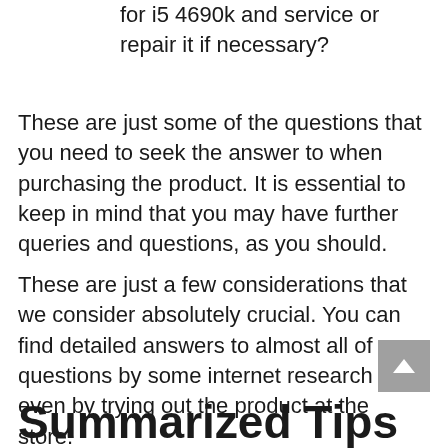for i5 4690k and service or repair it if necessary?
These are just some of the questions that you need to seek the answer to when purchasing the product. It is essential to keep in mind that you may have further queries and questions, as you should.
These are just a few considerations that we consider absolutely crucial. You can find detailed answers to almost all of your questions by some internet research or even by trying out the product at the store.
Summarized Tips